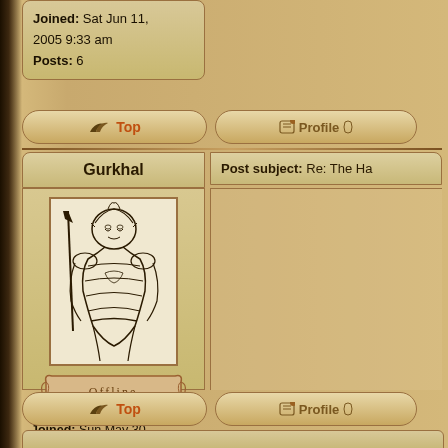Joined: Sat Jun 11, 2005 9:33 am
Posts: 6
Top
Profile
Gurkhal
Post subject: Re: The Ha
[Figure (illustration): Ink drawing of a warrior or noble figure wearing ornate armor and helmet, in a historical/fantasy style]
[Figure (other): Decorative scroll banner reading Offline]
Joined: Sun May 30, 2010 12:05 am
Posts: 119
Location: Linköping, Sweden
Top
Profile